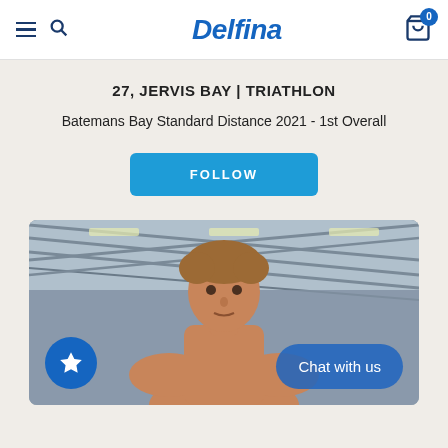Delfina
27, JERVIS BAY | TRIATHLON
Batemans Bay Standard Distance 2021 - 1st Overall
FOLLOW
[Figure (photo): Young male athlete photographed indoors at a swimming facility with a glass roof structure. He has curly light brown hair and is shirtless, looking directly at the camera. A blue circular favorite/star button is visible in the bottom left and a 'Chat with us' pill button in the bottom right.]